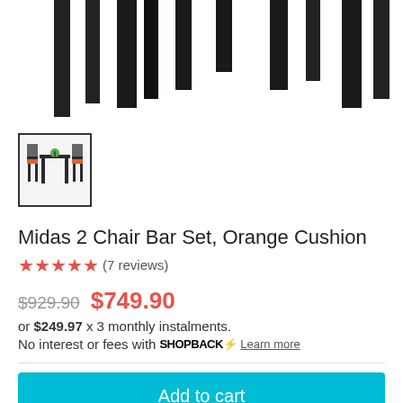[Figure (photo): Top cropped view of bar chair set - dark/black bar stools with legs visible from above, white background]
[Figure (photo): Thumbnail image of Midas 2 Chair Bar Set with orange cushions, showing full set from front]
Midas 2 Chair Bar Set, Orange Cushion
★★★★★ (7 reviews)
$929.90  $749.90
or $249.97 x 3 monthly instalments.
No interest or fees with SHOPBACK⚡ Learn more
Add to cart